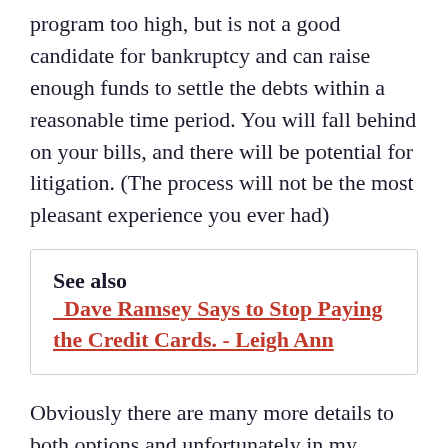program too high, but is not a good candidate for bankruptcy and can raise enough funds to settle the debts within a reasonable time period. You will fall behind on your bills, and there will be potential for litigation. (The process will not be the most pleasant experience you ever had)
See also  Dave Ramsey Says to Stop Paying the Credit Cards. - Leigh Ann
Obviously there are many more details to both options and unfortunately in my experience you don't tend to get the best information on alternative approaches when you talk with these types of companies directly. For obvious reasons, my CCCS companies will tell you why their solution is better and Debt Settlement Companies will tell you why